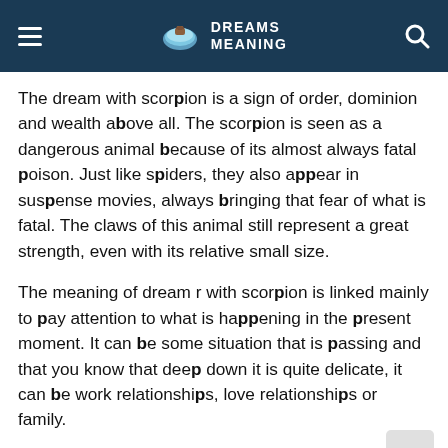DREAMS MEANING
The dream with scorpion is a sign of order, dominion and wealth above all. The scorpion is seen as a dangerous animal because of its almost always fatal poison. Just like spiders, they also appear in suspense movies, always bringing that fear of what is fatal. The claws of this animal still represent a great strength, even with its relative small size.
The meaning of dream r with scorpion is linked mainly to pay attention to what is happening in the present moment. It can be some situation that is passing and that you know that deep down it is quite delicate, it can be work relationships, love relationships or family.
To really know what it means to dream with a